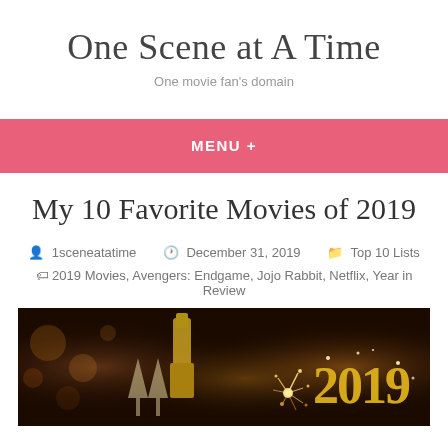One Scene at A Time
One movie fan's domain
MENU +
My 10 Favorite Movies of 2019
1sceneatatime   December 31, 2019   Top 10 Lists
2019 Movies, Avengers: Endgame, Jojo Rabbit, Netflix, Year in Review
[Figure (photo): New Year 2019 celebration photo with champagne bottle, glasses, sparklers, and glittery 2019 numbers on a dark background]